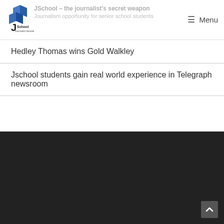[Figure (logo): JSchool Journalism Education & Training logo with blue diamond shapes]
≡ Menu
JSchool – the journalist's secret weapon
Journalism opportunity for senior school students
Hedley Thomas wins Gold Walkley
Jschool students gain real world experience in Telegraph newsroom